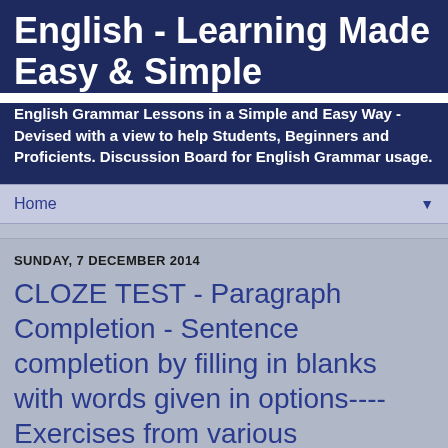English - Learning Made Easy & Simple
English Grammar Lessons in a Simple and Easy Way - Devised with a view to help Students, Beginners and Proficients. Discussion Board for English Grammar usage.
Home
SUNDAY, 7 DECEMBER 2014
CLOZE TEST - Paragraph Completion - Sentence completion by filling in blanks with words given in options---- Exercises from various examination questions.
PARAGRAPH COMPLETION